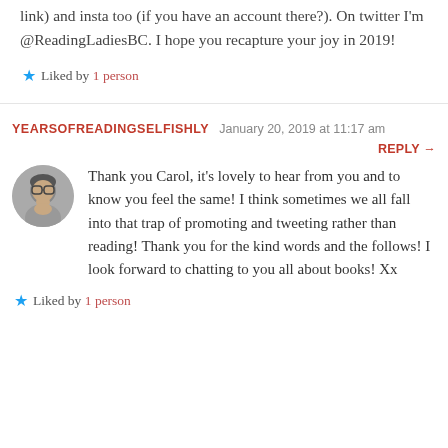link) and insta too (if you have an account there?). On twitter I'm @ReadingLadiesBC. I hope you recapture your joy in 2019!
★ Liked by 1 person
YEARSOFREADINGSELFISHLY  January 20, 2019 at 11:17 am
REPLY →
[Figure (photo): Circular avatar photo of a person wearing glasses]
Thank you Carol, it's lovely to hear from you and to know you feel the same! I think sometimes we all fall into that trap of promoting and tweeting rather than reading! Thank you for the kind words and the follows! I look forward to chatting to you all about books! Xx
★ Liked by 1 person